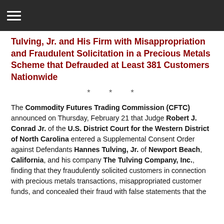≡
Tulving, Jr. and His Firm with Misappropriation and Fraudulent Solicitation in a Precious Metals Scheme that Defrauded at Least 381 Customers Nationwide
* * *
The Commodity Futures Trading Commission (CFTC) announced on Thursday, February 21 that Judge Robert J. Conrad Jr. of the U.S. District Court for the Western District of North Carolina entered a Supplemental Consent Order against Defendants Hannes Tulving, Jr. of Newport Beach, California, and his company The Tulving Company, Inc., finding that they fraudulently solicited customers in connection with precious metals transactions, misappropriated customer funds, and concealed their fraud with false statements that the